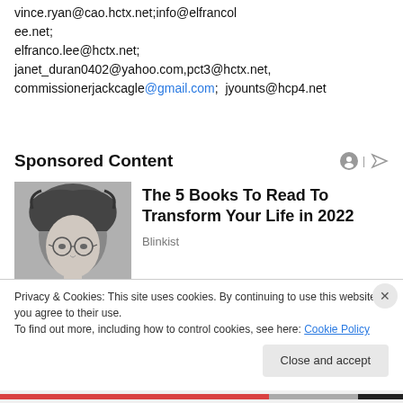vince.ryan@cao.hctx.net;info@elfrancol ee.net; elfranco.lee@hctx.net; janet_duran0402@yahoo.com,pct3@hctx.net, commissionerjackcagle@gmail.com;  jyounts@hcp4.net
Sponsored Content
[Figure (photo): Black and white photo of a person with curly hair and round glasses]
The 5 Books To Read To Transform Your Life in 2022
Blinkist
Privacy & Cookies: This site uses cookies. By continuing to use this website, you agree to their use.
To find out more, including how to control cookies, see here: Cookie Policy
Close and accept